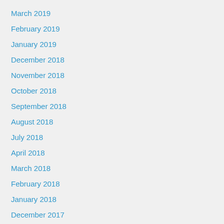March 2019
February 2019
January 2019
December 2018
November 2018
October 2018
September 2018
August 2018
July 2018
April 2018
March 2018
February 2018
January 2018
December 2017
October 2017